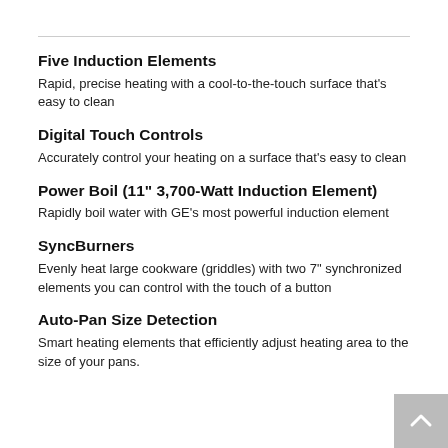Five Induction Elements
Rapid, precise heating with a cool-to-the-touch surface that's easy to clean
Digital Touch Controls
Accurately control your heating on a surface that's easy to clean
Power Boil (11" 3,700-Watt Induction Element)
Rapidly boil water with GE's most powerful induction element
SyncBurners
Evenly heat large cookware (griddles) with two 7" synchronized elements you can control with the touch of a button
Auto-Pan Size Detection
Smart heating elements that efficiently adjust heating area to the size of your pans.